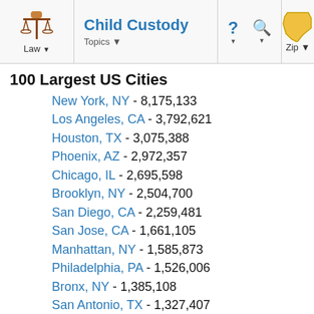Child Custody | Law | Topics | Zip
100 Largest US Cities
New York, NY - 8,175,133
Los Angeles, CA - 3,792,621
Houston, TX - 3,075,388
Phoenix, AZ - 2,972,357
Chicago, IL - 2,695,598
Brooklyn, NY - 2,504,700
San Diego, CA - 2,259,481
San Jose, CA - 1,661,105
Manhattan, NY - 1,585,873
Philadelphia, PA - 1,526,006
Bronx, NY - 1,385,108
San Antonio, TX - 1,327,407
Dallas, TX - 1,197,816
Sacramento, CA - 1,072,790
Seattle, WA - 965,760